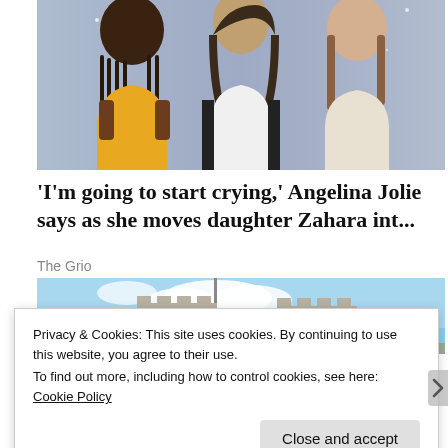[Figure (photo): Three women posing together: a young Black woman with long braids wearing a yellow dress on the left, a taller woman in a black blazer and white shirt in the center, and a young white woman with straight brown hair wearing a beige top on the right, against a sparkly/purple background.]
‘I’m going to start crying,’ Angelina Jolie says as she moves daughter Zahara int...
The Grio
[Figure (photo): Exterior photo of a castle with two stone towers against a blue sky with white clouds.]
Privacy & Cookies: This site uses cookies. By continuing to use this website, you agree to their use.
To find out more, including how to control cookies, see here: Cookie Policy
Close and accept